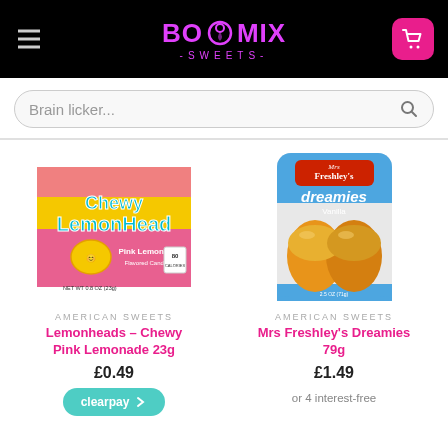BoxMix Sweets
Brain licker...
[Figure (photo): Chewy LemonHead Pink Lemonade 23g product box - yellow and pink box]
AMERICAN SWEETS
Lemonheads – Chewy Pink Lemonade 23g
£0.49
[Figure (photo): Mrs Freshley's Dreamies Vanilla 79g - blue and white package with sponge cakes]
AMERICAN SWEETS
Mrs Freshley's Dreamies 79g
£1.49
or 4 interest-free